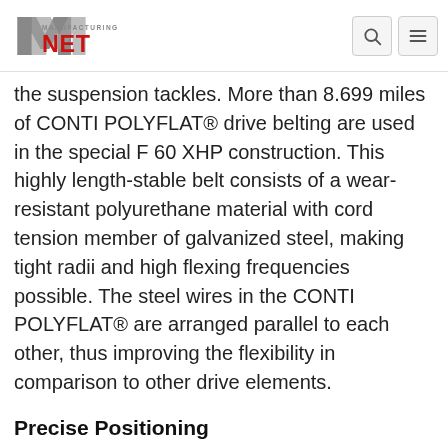Manufacturing NET logo, search icon, menu icon
the suspension tackles. More than 8.699 miles of CONTI POLYFLAT® drive belting are used in the special F 60 XHP construction. This highly length-stable belt consists of a wear-resistant polyurethane material with cord tension member of galvanized steel, making tight radii and high flexing frequencies possible. The steel wires in the CONTI POLYFLAT® are arranged parallel to each other, thus improving the flexibility in comparison to other drive elements.
Precise Positioning
Due to its extremely small thickness tolerance, the precision belt also ensures uniform load and exact height positioning at all four suspension